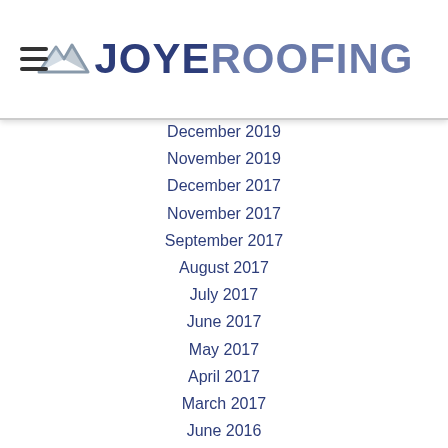JOYE ROOFING
December 2019
November 2019
December 2017
November 2017
September 2017
August 2017
July 2017
June 2017
May 2017
April 2017
March 2017
June 2016
Categories
All
Attic Inspection
Chapin